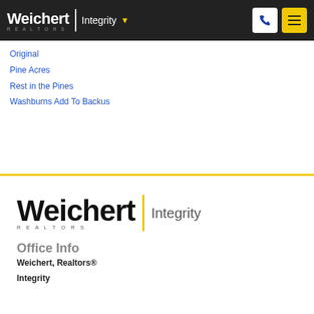Weichert | REALTORS Integrity
Original
Pine Acres
Rest in the Pines
Washburns Add To Backus
[Figure (logo): Weichert Realtors Integrity logo with yellow divider bar]
Office Info
Weichert, Realtors®
Integrity